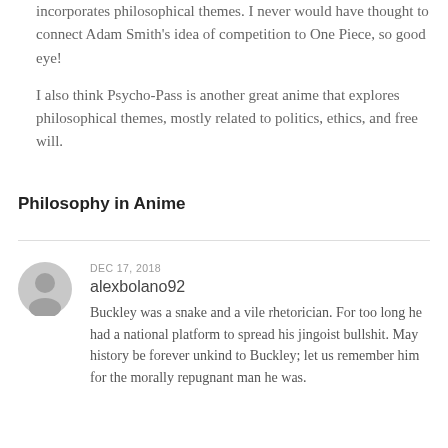incorporates philosophical themes. I never would have thought to connect Adam Smith's idea of competition to One Piece, so good eye!

I also think Psycho-Pass is another great anime that explores philosophical themes, mostly related to politics, ethics, and free will.
Philosophy in Anime
DEC 17, 2018
alexbolano92
Buckley was a snake and a vile rhetorician. For too long he had a national platform to spread his jingoist bullshit. May history be forever unkind to Buckley; let us remember him for the morally repugnant man he was.